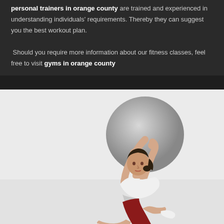personal trainers in orange county are trained and experienced in understanding individuals' requirements. Thereby they can suggest you the best workout plan. Should you require more information about our fitness classes, feel free to visit gyms in orange county
[Figure (photo): Woman sitting on floor holding a large grey exercise ball overhead with both arms raised, wearing white sports bra and dark red shorts with white sneakers, against a light grey/white background.]